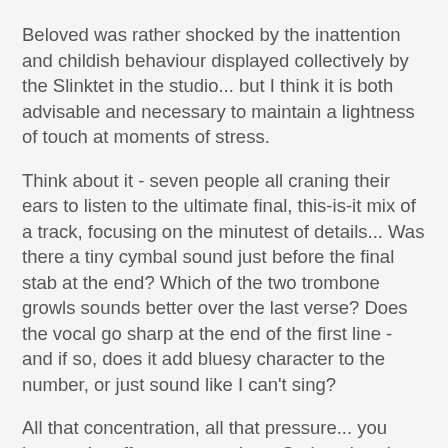Beloved was rather shocked by the inattention and childish behaviour displayed collectively by the Slinktet in the studio... but I think it is both advisable and necessary to maintain a lightness of touch at moments of stress.
Think about it - seven people all craning their ears to listen to the ultimate final, this-is-it mix of a track, focusing on the minutest of details... Was there a tiny cymbal sound just before the final stab at the end? Which of the two trombone growls sounds better over the last verse? Does the vocal go sharp at the end of the first line - and if so, does it add bluesy character to the number, or just sound like I can't sing?
All that concentration, all that pressure... you have to let off steam somehow. Serious bands probably OD on coke. We make the boys in the band try on girls' shoes. Take your pick.
When, you may be asking, can we hear these astonishing recordings?
I am going to tease and tantalise you for as long as possible,